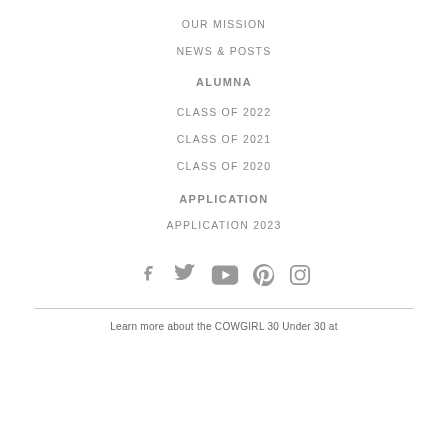OUR MISSION
NEWS & POSTS
ALUMNA
CLASS OF 2022
CLASS OF 2021
CLASS OF 2020
APPLICATION
APPLICATION 2023
[Figure (other): Social media icons: Facebook, Twitter, YouTube, Pinterest, Instagram]
Learn more about the COWGIRL 30 Under 30 at